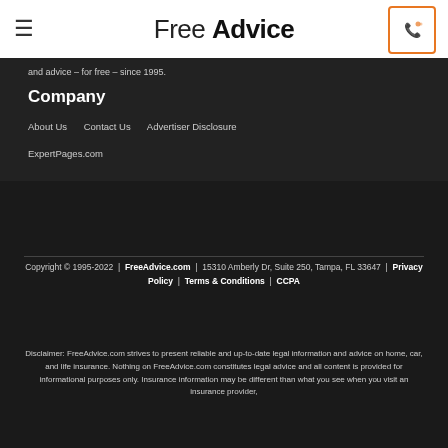FreeAdvice
and advice – for free – since 1995.
Company
About Us
Contact Us
Advertiser Disclosure
ExpertPages.com
Copyright © 1995-2022 | FreeAdvice.com | 15310 Amberly Dr, Suite 250, Tampa, FL 33647 | Privacy Policy | Terms & Conditions | CCPA
Disclaimer: FreeAdvice.com strives to present reliable and up-to-date legal information and advice on home, car, and life insurance. Nothing on FreeAdvice.com constitutes legal advice and all content is provided for informational purposes only. Insurance information may be different than what you see when you visit an insurance provider,